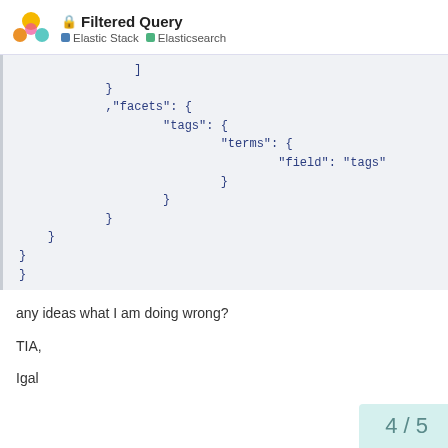Filtered Query — Elastic Stack / Elasticsearch
]
            }
            ,"facets": {
                    "tags": {
                            "terms": {
                                    "field": "tags"
                            }
                    }
            }
    }
}
}
any ideas what I am doing wrong?
TIA,
Igal
4 / 5